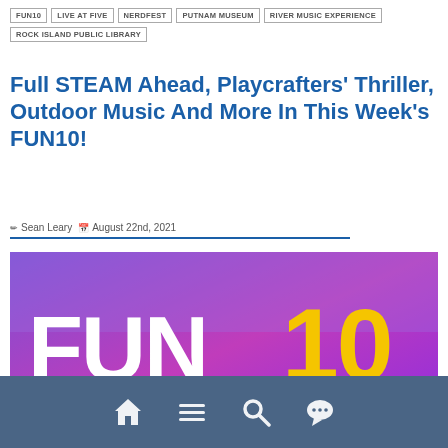FUN10  LIVE AT FIVE  NERDFEST  PUTNAM MUSEUM  RIVER MUSIC EXPERIENCE  ROCK ISLAND PUBLIC LIBRARY
Full STEAM Ahead, Playcrafters' Thriller, Outdoor Music And More In This Week's FUN10!
Sean Leary  August 22nd, 2021
[Figure (illustration): FUN10 Quad Cities logo graphic with purple/magenta gradient background, white bold text 'FUN', large yellow '10', green horizontal bar, cyan text 'QUAD CITIES', and white hashtag text '#Fun10QC' at the bottom]
Navigation bar with home, menu, search, and chat icons